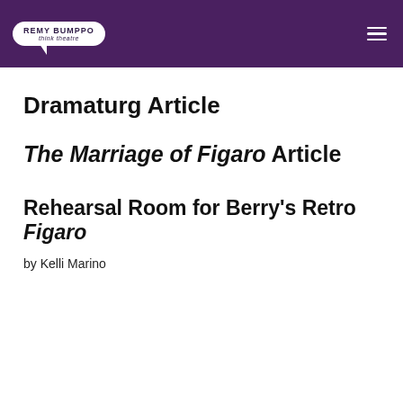REMY BUMPPO think theatre
Dramaturg Article
The Marriage of Figaro Article
Rehearsal Room for Berry's Retro Figaro
by Kelli Marino